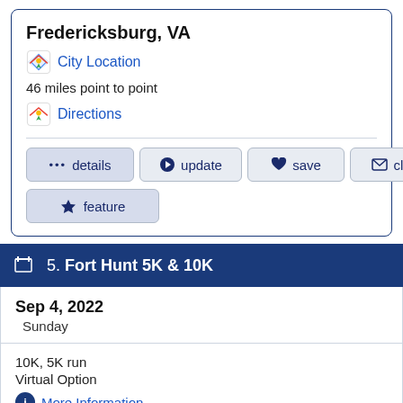Fredericksburg, VA
City Location
46 miles point to point
Directions
... details
update
save
claim
feature
5. Fort Hunt 5K & 10K
Sep 4, 2022
Sunday
10K, 5K run
Virtual Option
More Information
Alexandria, VA